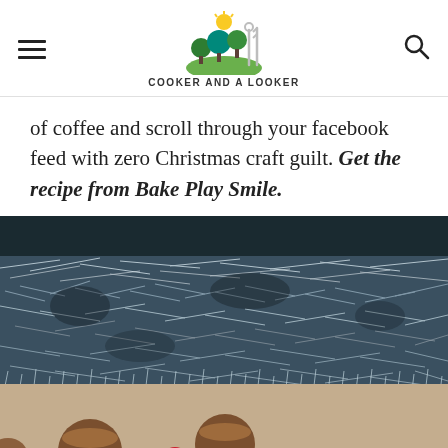COOKER AND A LOOKER
of coffee and scroll through your facebook feed with zero Christmas craft guilt. Get the recipe from Bake Play Smile.
[Figure (photo): Photo of Christmas tinsel (silver/blue) draped over what appears to be a sandy or beige surface, with chocolate candies (Reese's cups and an M&M) visible at the bottom of the image.]